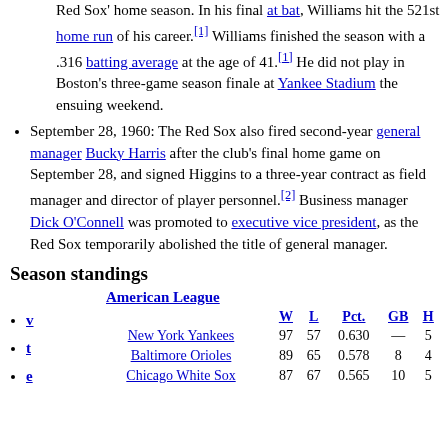Red Sox' home season. In his final at bat, Williams hit the 521st home run of his career.[1] Williams finished the season with a .316 batting average at the age of 41.[1] He did not play in Boston's three-game season finale at Yankee Stadium the ensuing weekend.
September 28, 1960: The Red Sox also fired second-year general manager Bucky Harris after the club's final home game on September 28, and signed Higgins to a three-year contract as field manager and director of player personnel.[2] Business manager Dick O'Connell was promoted to executive vice president, as the Red Sox temporarily abolished the title of general manager.
Season standings
|  | W | L | Pct. | GB | H |
| --- | --- | --- | --- | --- | --- |
| New York Yankees | 97 | 57 | 0.630 | — | 5 |
| Baltimore Orioles | 89 | 65 | 0.578 | 8 | 4 |
| Chicago White Sox | 87 | 67 | 0.565 | 10 | 5 |